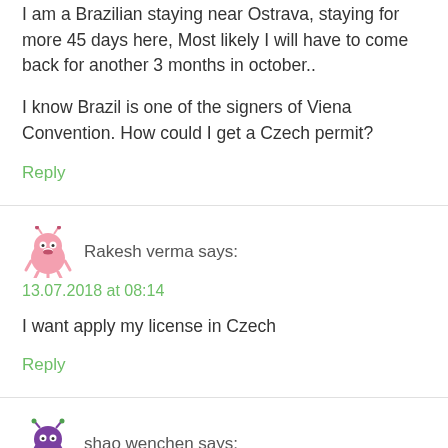I am a Brazilian staying near Ostrava, staying for more 45 days here, Most likely I will have to come back for another 3 months in october..
I know Brazil is one of the signers of Viena Convention. How could I get a Czech permit?
Reply
Rakesh verma says:
13.07.2018 at 08:14
I want apply my license in Czech
Reply
shao wenchen says:
08.09.2018 at 22:43